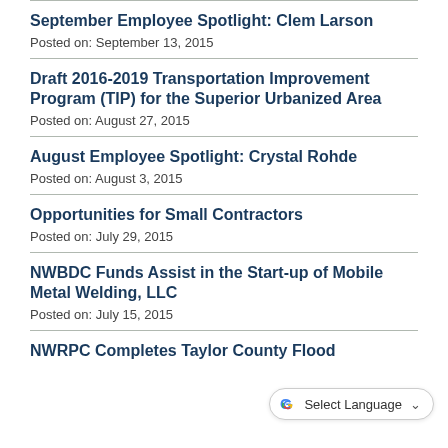September Employee Spotlight: Clem Larson
Posted on: September 13, 2015
Draft 2016-2019 Transportation Improvement Program (TIP) for the Superior Urbanized Area
Posted on: August 27, 2015
August Employee Spotlight: Crystal Rohde
Posted on: August 3, 2015
Opportunities for Small Contractors
Posted on: July 29, 2015
NWBDC Funds Assist in the Start-up of Mobile Metal Welding, LLC
Posted on: July 15, 2015
NWRPC Completes Taylor County Flood